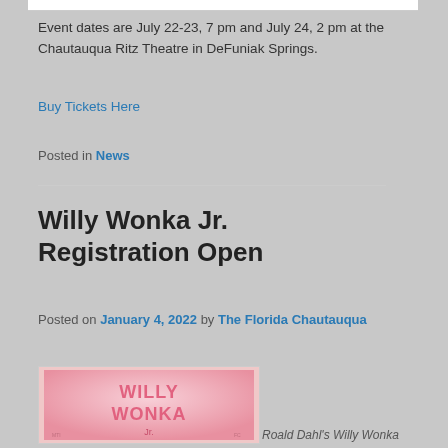Event dates are July 22-23, 7 pm and July 24, 2 pm at the Chautauqua Ritz Theatre in DeFuniak Springs.
Buy Tickets Here
Posted in News
Willy Wonka Jr. Registration Open
Posted on January 4, 2022 by The Florida Chautauqua
[Figure (photo): Willy Wonka Jr. promotional image with pink background and stylized 'Willy Wonka Jr.' text logo]
Roald Dahl's Willy Wonka